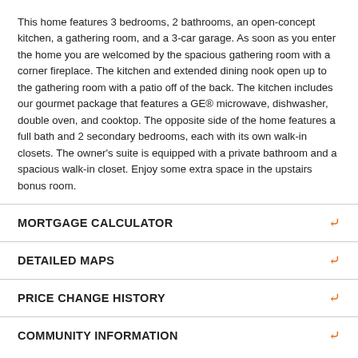This home features 3 bedrooms, 2 bathrooms, an open-concept kitchen, a gathering room, and a 3-car garage. As soon as you enter the home you are welcomed by the spacious gathering room with a corner fireplace. The kitchen and extended dining nook open up to the gathering room with a patio off of the back. The kitchen includes our gourmet package that features a GE® microwave, dishwasher, double oven, and cooktop. The opposite side of the home features a full bath and 2 secondary bedrooms, each with its own walk-in closets. The owner's suite is equipped with a private bathroom and a spacious walk-in closet. Enjoy some extra space in the upstairs bonus room.
MORTGAGE CALCULATOR
DETAILED MAPS
PRICE CHANGE HISTORY
COMMUNITY INFORMATION